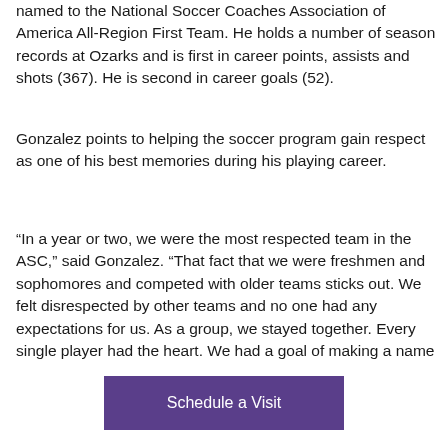named to the National Soccer Coaches Association of America All-Region First Team. He holds a number of season records at Ozarks and is first in career points, assists and shots (367). He is second in career goals (52).
Gonzalez points to helping the soccer program gain respect as one of his best memories during his playing career.
“In a year or two, we were the most respected team in the ASC,” said Gonzalez. “That fact that we were freshmen and sophomores and competed with older teams sticks out. We felt disrespected by other teams and no one had any expectations for us. As a group, we stayed together. Every single player had the heart. We had a goal of making a name…”
Schedule a Visit